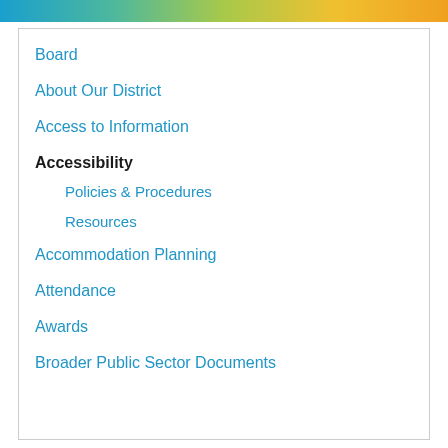Board
About Our District
Access to Information
Accessibility
Policies & Procedures
Resources
Accommodation Planning
Attendance
Awards
Broader Public Sector Documents